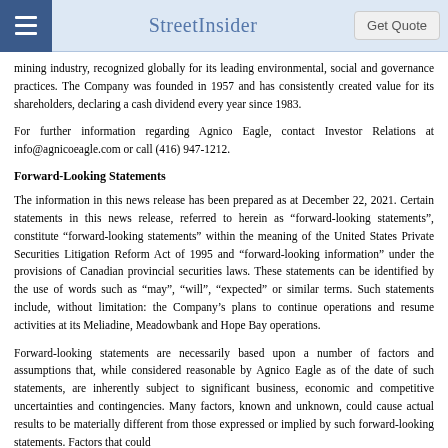StreetInsider | Get Quote
mining industry, recognized globally for its leading environmental, social and governance practices. The Company was founded in 1957 and has consistently created value for its shareholders, declaring a cash dividend every year since 1983.
For further information regarding Agnico Eagle, contact Investor Relations at info@agnicoeagle.com or call (416) 947-1212.
Forward-Looking Statements
The information in this news release has been prepared as at December 22, 2021. Certain statements in this news release, referred to herein as "forward-looking statements", constitute "forward-looking statements" within the meaning of the United States Private Securities Litigation Reform Act of 1995 and "forward-looking information" under the provisions of Canadian provincial securities laws. These statements can be identified by the use of words such as "may", "will", "expected" or similar terms. Such statements include, without limitation: the Company's plans to continue operations and resume activities at its Meliadine, Meadowbank and Hope Bay operations.
Forward-looking statements are necessarily based upon a number of factors and assumptions that, while considered reasonable by Agnico Eagle as of the date of such statements, are inherently subject to significant business, economic and competitive uncertainties and contingencies. Many factors, known and unknown, could cause actual results to be materially different from those expressed or implied by such forward-looking statements. Factors that could